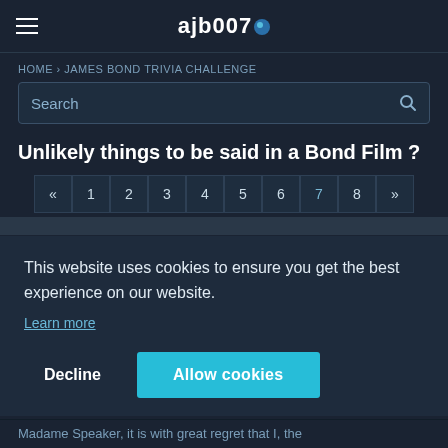ajb007
HOME › JAMES BOND TRIVIA CHALLENGE
Unlikely things to be said in a Bond Film ?
« 1 2 3 4 5 6 7 8 »
This website uses cookies to ensure you get the best experience on our website.
Learn more
Decline
Allow cookies
Madame Speaker, it is with great regret that I, the